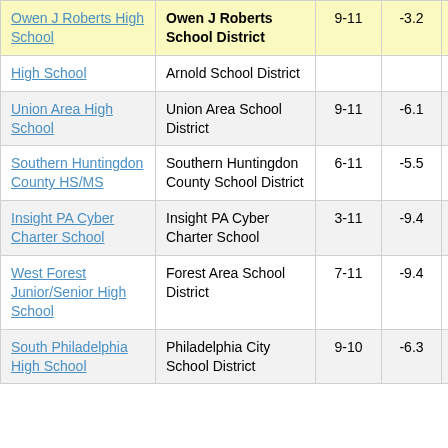| School | District | Grades | Value |  |
| --- | --- | --- | --- | --- |
| Owen J Roberts High School | Owen J Roberts School District | 9-11 | -3.2 |  |
| High School | Arnold School District |  |  |  |
| Union Area High School | Union Area School District | 9-11 | -6.1 |  |
| Southern Huntingdon County HS/MS | Southern Huntingdon County School District | 6-11 | -5.5 |  |
| Insight PA Cyber Charter School | Insight PA Cyber Charter School | 3-11 | -9.4 |  |
| West Forest Junior/Senior High School | Forest Area School District | 7-11 | -9.4 |  |
| South Philadelphia High School | Philadelphia City School District | 9-10 | -6.3 |  |